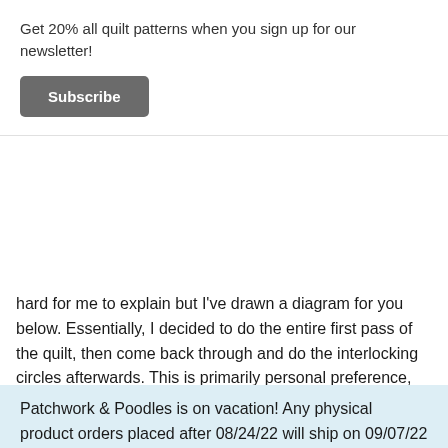Get 20% all quilt patterns when you sign up for our newsletter!
Subscribe
hard for me to explain but I've drawn a diagram for you below. Essentially, I decided to do the entire first pass of the quilt, then come back through and do the interlocking circles afterwards. This is primarily personal preference, but I always feel better when my whole quilt has some quilting and I can go and fill in the rest, instead of finishing up one portion while the other half of my quilt top is completely unquilted.
To draw the circles, you want to make sure your
Patchwork & Poodles is on vacation! Any physical product orders placed after 08/24/22 will ship on 09/07/22 Dismiss